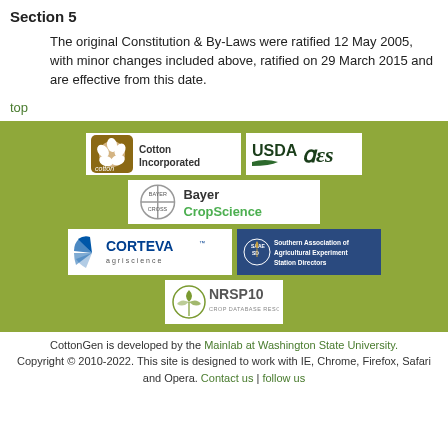Section 5
The original Constitution & By-Laws were ratified 12 May 2005, with minor changes included above, ratified on 29 March 2015 and are effective from this date.
top
[Figure (logo): Green band with sponsor logos: Cotton Incorporated, USDA AES, Bayer CropScience, Corteva agriscience, Southern Association of Agricultural Experiment Station Directors (SAAESD), NRSP10 Crop Database Resources]
CottonGen is developed by the Mainlab at Washington State University. Copyright © 2010-2022. This site is designed to work with IE, Chrome, Firefox, Safari and Opera. Contact us | follow us